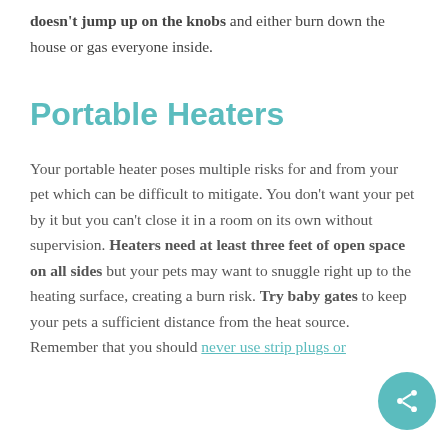doesn't jump up on the knobs and either burn down the house or gas everyone inside.
Portable Heaters
Your portable heater poses multiple risks for and from your pet which can be difficult to mitigate. You don't want your pet by it but you can't close it in a room on its own without supervision. Heaters need at least three feet of open space on all sides but your pets may want to snuggle right up to the heating surface, creating a burn risk. Try baby gates to keep your pets a sufficient distance from the heat source. Remember that you should never use strip plugs or